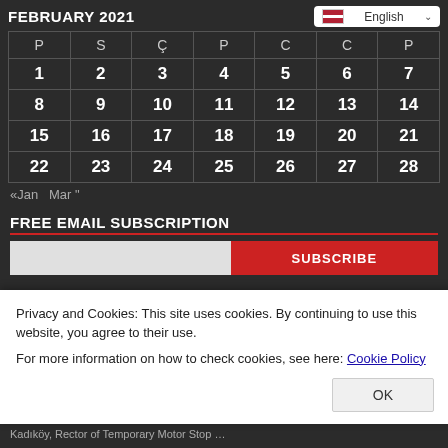FEBRUARY 2021
| P | S | Ç | P | C | C | P |
| --- | --- | --- | --- | --- | --- | --- |
| 1 | 2 | 3 | 4 | 5 | 6 | 7 |
| 8 | 9 | 10 | 11 | 12 | 13 | 14 |
| 15 | 16 | 17 | 18 | 19 | 20 | 21 |
| 22 | 23 | 24 | 25 | 26 | 27 | 28 |
«Jan  Mar"
FREE EMAIL SUBSCRIPTION
SUBSCRIBE
Privacy and Cookies: This site uses cookies. By continuing to use this website, you agree to their use.
For more information on how to check cookies, see here: Cookie Policy
OK